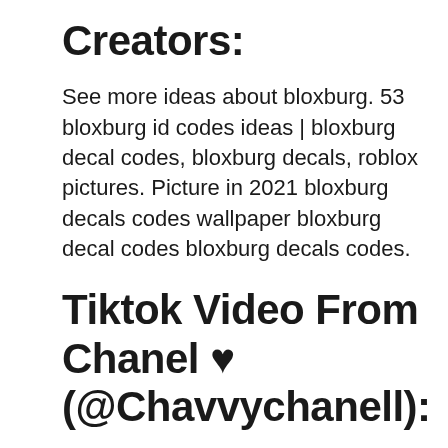Creators:
See more ideas about bloxburg. 53 bloxburg id codes ideas | bloxburg decal codes, bloxburg decals, roblox pictures. Picture in 2021 bloxburg decals codes wallpaper bloxburg decal codes bloxburg decals codes.
Tiktok Video From Chanel ♥ (@Chavvychanell):
Comment more things you want me to make dolls💋 #foryoupage #roblox #bloxburg #codes #bloxburg #chavcodes #chav #foryou #roblox. Menu for a bakery cafe in 2021 bloxburg decal codes bloxburg decals codes. Cute clothes codes for bloxburg